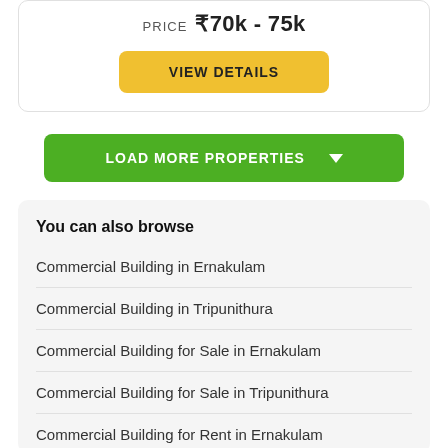PRICE ₹70k - 75k
VIEW DETAILS
LOAD MORE PROPERTIES
You can also browse
Commercial Building in Ernakulam
Commercial Building in Tripunithura
Commercial Building for Sale in Ernakulam
Commercial Building for Sale in Tripunithura
Commercial Building for Rent in Ernakulam